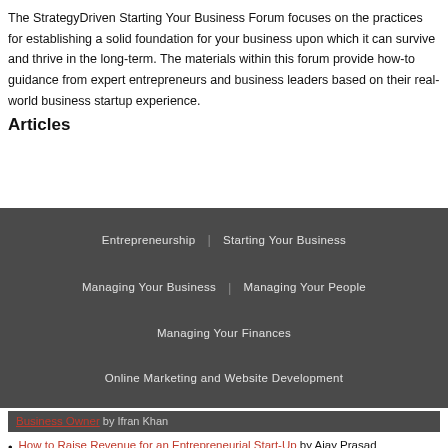The StrategyDriven Starting Your Business Forum focuses on the practices for establishing a solid foundation for your business upon which it can survive and thrive in the long-term. The materials within this forum provide how-to guidance from expert entrepreneurs and business leaders based on their real-world business startup experience.
Articles
Entrepreneurship | Starting Your Business
Managing Your Business | Managing Your People
Managing Your Finances
Online Marketing and Website Development
Business Owner by Ifran Khan
How to Raise Revenue for an Entrepreneurial Start-Up by Ajay Prasad
Top Investment Strategies for 2020 by Olivia Harlan